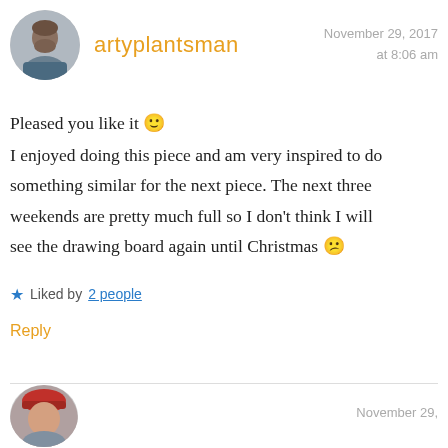artyplantsman
November 29, 2017 at 8:06 am
Pleased you like it 🙂 I enjoyed doing this piece and am very inspired to do something similar for the next piece. The next three weekends are pretty much full so I don't think I will see the drawing board again until Christmas 😕
Liked by 2 people
Reply
November 29,